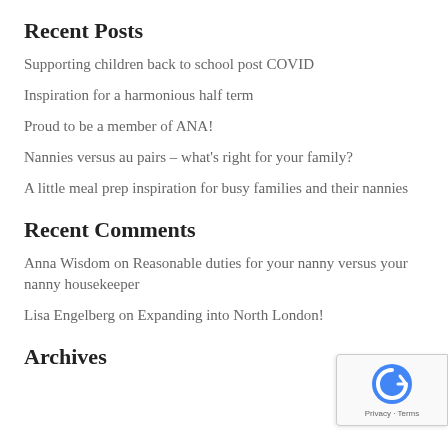Recent Posts
Supporting children back to school post COVID
Inspiration for a harmonious half term
Proud to be a member of ANA!
Nannies versus au pairs – what's right for your family?
A little meal prep inspiration for busy families and their nannies
Recent Comments
Anna Wisdom on Reasonable duties for your nanny versus your nanny housekeeper
Lisa Engelberg on Expanding into North London!
Archives